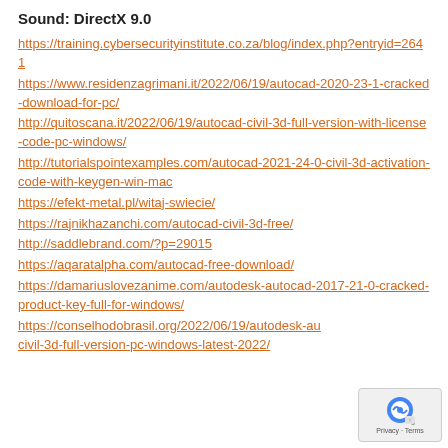Sound: DirectX 9.0
https://training.cybersecurityinstitute.co.za/blog/index.php?entryid=2641
https://www.residenzagrimani.it/2022/06/19/autocad-2020-23-1-cracked-download-for-pc/
http://quitoscana.it/2022/06/19/autocad-civil-3d-full-version-with-license-code-pc-windows/
http://tutorialspointexamples.com/autocad-2021-24-0-civil-3d-activation-code-with-keygen-win-mac
https://efekt-metal.pl/witaj-swiecie/
https://rajnikhazanchi.com/autocad-civil-3d-free/
http://saddlebrand.com/?p=29015
https://aqaratalpha.com/autocad-free-download/
https://damariuslovezanime.com/autodesk-autocad-2017-21-0-cracked-product-key-full-for-windows/
https://conselhodobrasil.org/2022/06/19/autodesk-autocad-civil-3d-full-version-pc-windows-latest-2022/